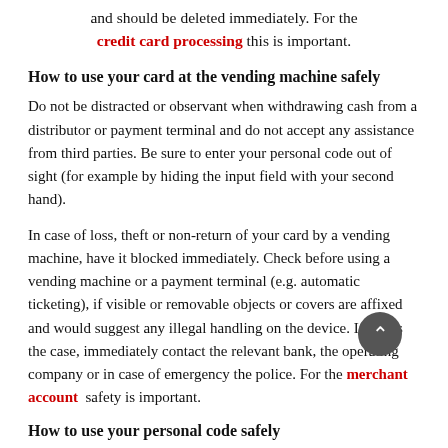and should be deleted immediately. For the credit card processing this is important.
How to use your card at the vending machine safely
Do not be distracted or observant when withdrawing cash from a distributor or payment terminal and do not accept any assistance from third parties. Be sure to enter your personal code out of sight (for example by hiding the input field with your second hand).
In case of loss, theft or non-return of your card by a vending machine, have it blocked immediately. Check before using a vending machine or a payment terminal (e.g. automatic ticketing), if visible or removable objects or covers are affixed and would suggest any illegal handling on the device. If this is the case, immediately contact the relevant bank, the operating company or in case of emergency the police. For the merchant account safety is important.
How to use your personal code safely